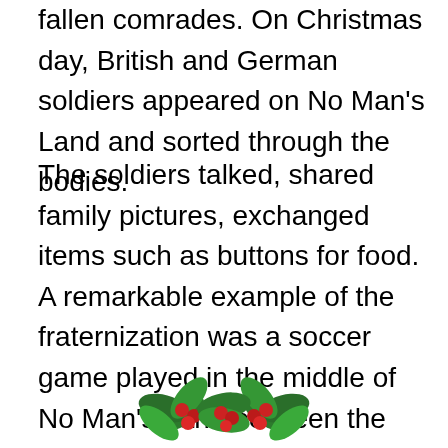fallen comrades. On Christmas day, British and German soldiers appeared on No Man's Land and sorted through the bodies.
The soldiers talked, shared family pictures, exchanged items such as buttons for food. A remarkable example of the fraternization was a soccer game played in the middle of No Man's Land between the Bedfordshire Regiment and German soldiers. A member of the Bedfordshire Regiment produced a ball and the large group of soldiers played until the ball was deflated when it hit a barbed wire entanglement.
The strange and unofficial truce lasted for several days. This amazing show of Christmas cheer was never again repeated.
[Figure (illustration): Holly leaves and berries decorative illustration at the bottom of the page]